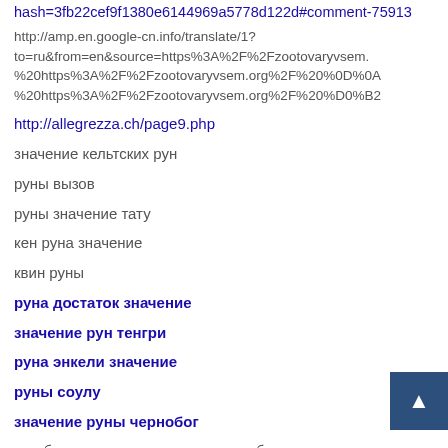hash=3fb22cef9f1380e6144969a5778d122d#comment-75913
http://amp.en.google-cn.info/translate/1?to=ru&from=en&source=https%3A%2F%2Fzootovaryvsem.%20https%3A%2F%2Fzootovaryvsem.org%2F%20%0D%0A%20https%3A%2F%2Fzootovaryvsem.org%2F%20%D0%B2
http://allegrezza.ch/page9.php
значение кельтских рун
руны вызов
руны значение тату
кен руна значение
квин руны
руна достаток значение
значение рун тенгри
руна энкели значение
руны соулу
значение руны чернобог
кораблев руныпереводчик рунруны обоируны одинаруны русичей
руна ингуз значение
вардруна значение руны